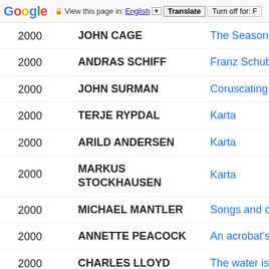Google | View this page in: English | Translate | Turn off for: F
2000 | JOHN CAGE | The Seasons
2000 | ANDRAS SCHIFF | Franz Schubert...
2000 | JOHN SURMAN | Coruscating
2000 | TERJE RYPDAL | Karta
2000 | ARILD ANDERSEN | Karta
2000 | MARKUS STOCKHAUSEN | Karta
2000 | MICHAEL MANTLER | Songs and one s...
2000 | ANNETTE PEACOCK | An acrobat's hea...
2000 | CHARLES LLOYD | The water is wid...
2000 | KARL AMADEUS | Funèbre